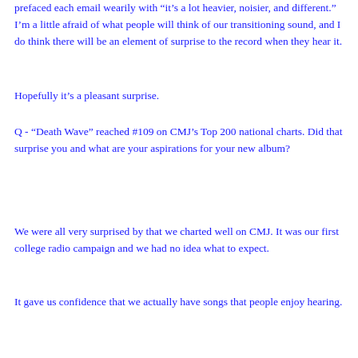prefaced each email wearily with “it’s a lot heavier, noisier, and different.” I’m a little afraid of what people will think of our transitioning sound, and I do think there will be an element of surprise to the record when they hear it.
Hopefully it’s a pleasant surprise.
Q - “Death Wave” reached #109 on CMJ’s Top 200 national charts. Did that surprise you and what are your aspirations for your new album?
We were all very surprised by that we charted well on CMJ. It was our first college radio campaign and we had no idea what to expect.
It gave us confidence that we actually have songs that people enjoy hearing.